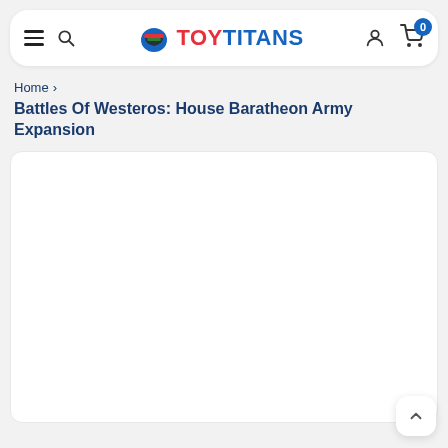TOY TITANS — navigation header with hamburger menu, search, logo, user icon, and cart (0 items)
Home >
Battles Of Westeros: House Baratheon Army Expansion
[Figure (photo): Product image area — white rectangle placeholder for product photo]